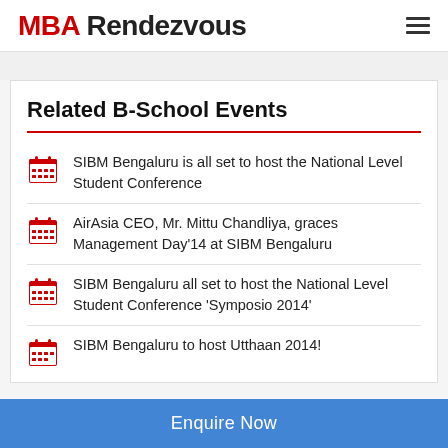MBA Rendezvous
Related B-School Events
SIBM Bengaluru is all set to host the National Level Student Conference
AirAsia CEO, Mr. Mittu Chandliya, graces Management Day'14 at SIBM Bengaluru
SIBM Bengaluru all set to host the National Level Student Conference 'Symposio 2014'
SIBM Bengaluru to host Utthaan 2014!
Enquire Now